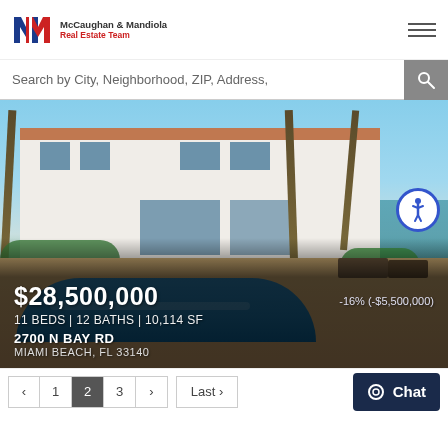McCaughan & Mandiola Real Estate Team
Search by City, Neighborhood, ZIP, Address,
[Figure (photo): Luxury waterfront property with pool, palm trees, white modern house, patio furniture, and waterway in background]
$28,500,000
-16% (-$5,500,000)
11 BEDS | 12 BATHS | 10,114 SF
2700 N BAY RD
MIAMI BEACH, FL 33140
‹  1  2  3  ›    Last ›
Chat